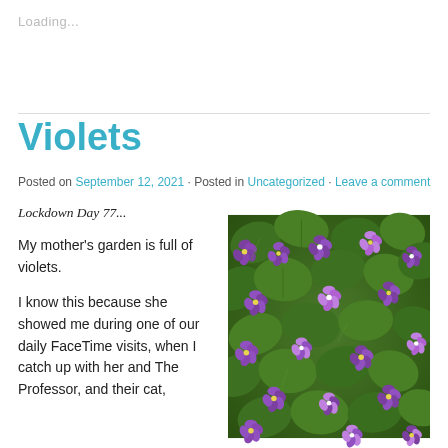Loading...
Violets
Posted on September 12, 2021 · Posted in Uncategorized · Leave a comment
Lockdown Day 77...
My mother's garden is full of violets.
I know this because she showed me during one of our daily FaceTime visits, when I catch up with her and The Professor, and their cat,
[Figure (photo): Close-up photograph of purple violet flowers and green heart-shaped leaves filling the frame]